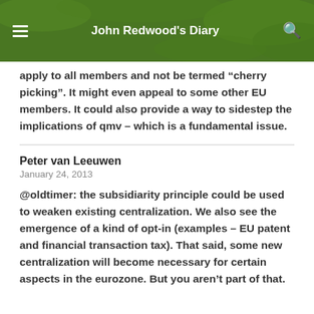John Redwood's Diary
apply to all members and not be termed “cherry picking”. It might even appeal to some other EU members. It could also provide a way to sidestep the implications of qmv – which is a fundamental issue.
Peter van Leeuwen
January 24, 2013
@oldtimer: the subsidiarity principle could be used to weaken existing centralization. We also see the emergence of a kind of opt-in (examples – EU patent and financial transaction tax). That said, some new centralization will become necessary for certain aspects in the eurozone. But you aren’t part of that.